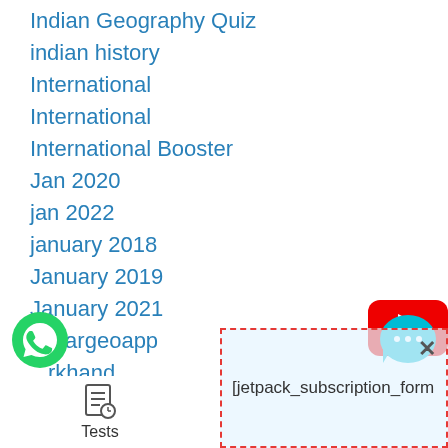Indian Geography Quiz
indian history
International
International
International Booster
Jan 2020
jan 2022
january 2018
January 2019
January 2021
jhargeoapp
Jharkhand
[Figure (logo): YouTube play button logo (red rounded rectangle with white triangle)]
[Figure (logo): WhatsApp icon (green circle with white telephone handset)]
[Figure (logo): Chat bubble icon (teal/cyan with three dots)]
[Figure (screenshot): Tests icon (document with clock)]
Tests
[jetpack_subscription_form